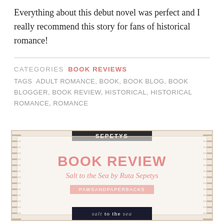Everything about this debut novel was perfect and I really recommend this story for fans of historical romance!
CATEGORIES  BOOK REVIEWS
TAGS  ADULT ROMANCE, BOOK, BOOK BLOG, BOOK BLOGGER, BOOK REVIEW, HISTORICAL, HISTORICAL ROMANCE, ROMANCE
[Figure (illustration): Book review banner image for 'Salt to the Sea by Ruta Sepetys' with decorative border, showing 'BOOK REVIEW' title in pink, subtitle in italic, a PAWSANDPAPERBACKS ribbon, and the book spine at the bottom.]